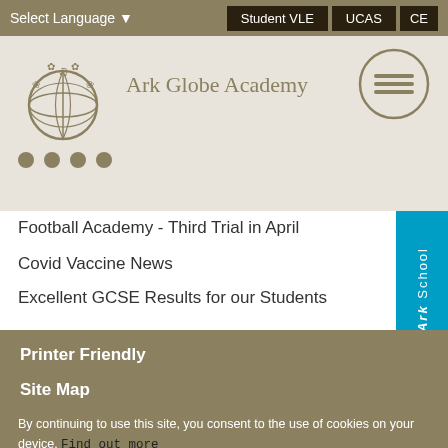Select Language ▾  Student VLE  UCAS  CE
[Figure (logo): Ark Globe Academy logo: decorative globe with musical notes and ornamental design in gold/tan color]
Ark Globe Academy
Football Academy - Third Trial in April
Covid Vaccine News
Excellent GCSE Results for our Students
An Ark School
Printer Friendly
Site Map
By continuing to use this site, you consent to the use of cookies on your device. Find out more